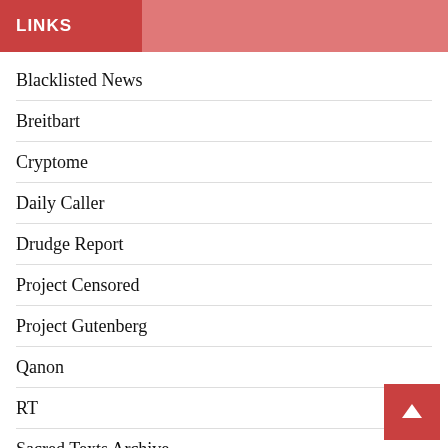LINKS
Blacklisted News
Breitbart
Cryptome
Daily Caller
Drudge Report
Project Censored
Project Gutenberg
Qanon
RT
Sacred Texts Archive
Sara Carter
Shryl Attkisson